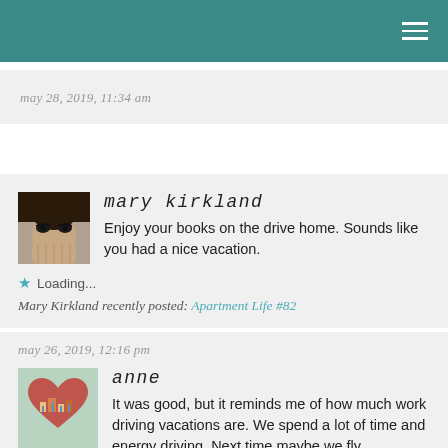may 28, 2019, 11:34 am
mary kirkland
Enjoy your books on the drive home. Sounds like you had a nice vacation.
Loading...
Mary Kirkland recently posted: Apartment Life #82
may 26, 2019, 12:16 pm
anne
It was good, but it reminds me of how much work driving vacations are. We spend a lot of time and energy driving. Next time maybe we fly